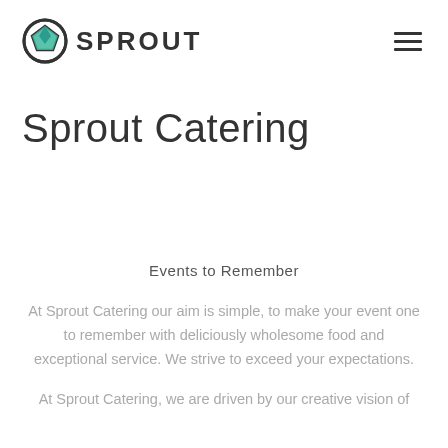SPROUT
Sprout Catering
Events to Remember
At Sprout Catering our aim is simple, to make your event one to remember with deliciously wholesome food and exceptional service. We strive to exceed your expectations.
At Sprout Catering, we are driven by our creative vision of